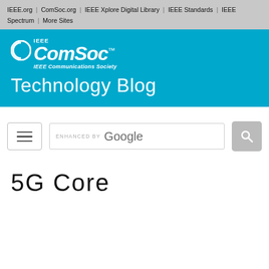IEEE.org | ComSoc.org | IEEE Xplore Digital Library | IEEE Standards | IEEE Spectrum | More Sites
[Figure (logo): IEEE ComSoc IEEE Communications Society Technology Blog banner logo on blue background]
[Figure (screenshot): Search bar enhanced by Google with hamburger menu button]
5G Core